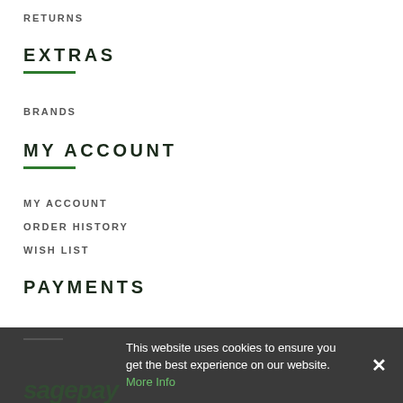RETURNS
EXTRAS
BRANDS
MY ACCOUNT
MY ACCOUNT
ORDER HISTORY
WISH LIST
PAYMENTS
This website uses cookies to ensure you get the best experience on our website. More Info
[Figure (logo): Sagepay logo in dark green on dark grey background footer]